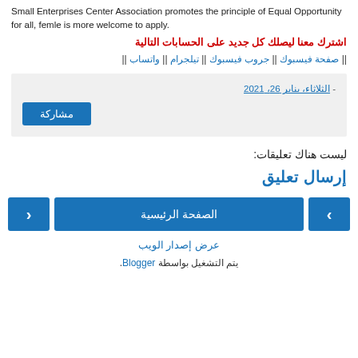Small Enterprises Center Association promotes the principle of Equal Opportunity for all, femle is more welcome to apply.
اشترك معنا ليصلك كل جديد على الحسابات التالية
|| صفحة فيسبوك || جروب فيسبوك || تيلجرام || واتساب ||
- الثلاثاء، يناير 26، 2021
مشاركة
ليست هناك تعليقات:
إرسال تعليق
الصفحة الرئيسية
عرض إصدار الويب
يتم التشغيل بواسطة Blogger.